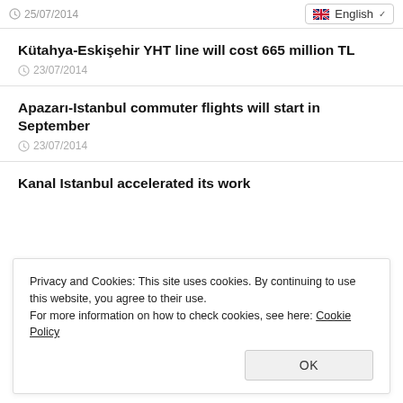25/07/2014 | English
Kütahya-Eskişehir YHT line will cost 665 million TL
23/07/2014
Apazarı-Istanbul commuter flights will start in September
23/07/2014
Kanal Istanbul accelerated its work
Privacy and Cookies: This site uses cookies. By continuing to use this website, you agree to their use.
For more information on how to check cookies, see here: Cookie Policy